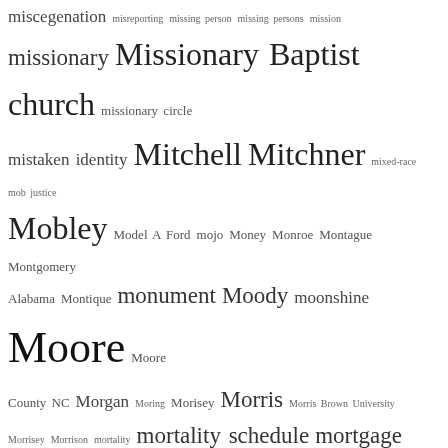miscegenation misreporting missing person missing persons mission missionary Missionary Baptist church missionary circle mistaken identity Mitchell Mitchner mixed-race mob justice Mobley Model A Ford mojo Money Monroe Montague Montgomery Alabama Montique monument Moody moonshine Moore Moore County NC Morgan Moring Morisey Morris Morris Brown University Morrisey Morrison mortality mortality schedule mortgage mortgage deed mortician Moses Mother's Day mother and daughter mother and son motor vehicle registration Mount Hebron Masonic Lodge #42 movie theatre moving pictures Moye mule Mumford murder murder for hire murder trial Murphy Murrain Murray muscadine museum Music musician music trail Muslim mutual burial association Myers mystery NAACP name Nansemond County VA Narroway Street NASA Nash Nash County Nash County NC Nash Street National Day of Service National Football League National indigenous Peoples Day National Medical Association National Memorial for Peace and Justice National Museum of African American National Register of